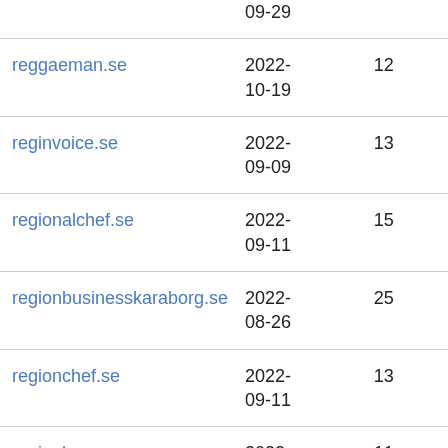| Domain | Date | Count |
| --- | --- | --- |
|  | 09-29 |  |
| reggaeman.se | 2022-
10-19 | 12 |
| reginvoice.se | 2022-
09-09 | 13 |
| regionalchef.se | 2022-
09-11 | 15 |
| regionbusinesskaraborg.se | 2022-
08-26 | 25 |
| regionchef.se | 2022-
09-11 | 13 |
| regionhr.se | 2022-
09-11 | 11 |
| regionpanelen.se | 2022- | 16 |